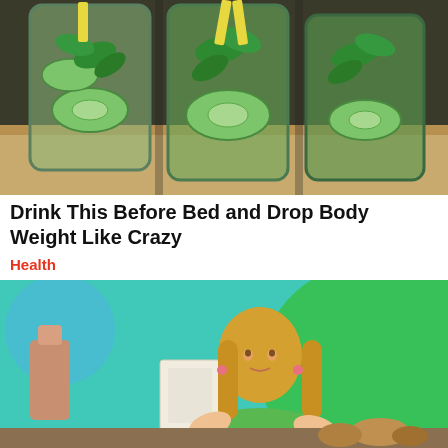[Figure (photo): Three large glass jars filled with water, cucumber slices, mint leaves, and lemon/yellow citrus slices, arranged on a kitchen counter.]
Drink This Before Bed and Drop Body Weight Like Crazy
Health
[Figure (photo): A blonde woman in a green floral dress speaking on a colorful TV talk show set with teal and green background and decorative props.]